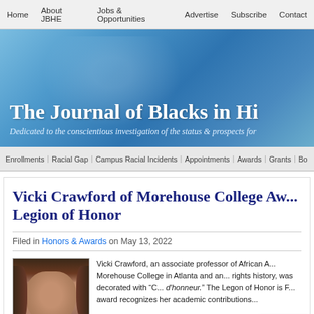Home | About JBHE | Jobs & Opportunities | Advertise | Subscribe | Contact
[Figure (screenshot): Blue banner header for The Journal of Blacks in Higher Education website with text 'The Journal of Blacks in Hi...' and subtitle 'Dedicated to the conscientious investigation of the status & prospects for...']
Enrollments | Racial Gap | Campus Racial Incidents | Appointments | Awards | Grants | Bo...
Vicki Crawford of Morehouse College Awarded Legion of Honor
Filed in Honors & Awards on May 13, 2022
[Figure (photo): Headshot photo of Vicki Crawford, a woman with long brown hair]
Vicki Crawford, an associate professor of African ... Morehouse College in Atlanta and an... rights history, was decorated with "C... d'honneur." The Legon of Honor is F... award recognizes her academic contributions...